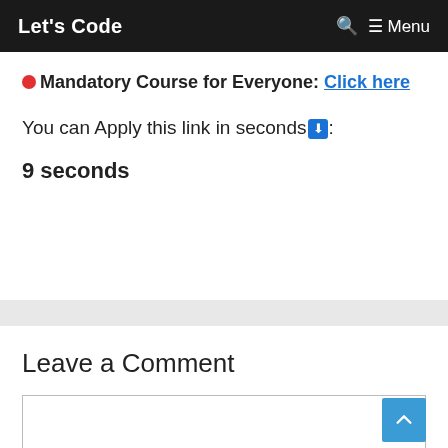Let's Code   🔍 ☰ Menu
🔴 Mandatory Course for Everyone: Click here
You can Apply this link in seconds ⬇️:
9 seconds
Leave a Comment